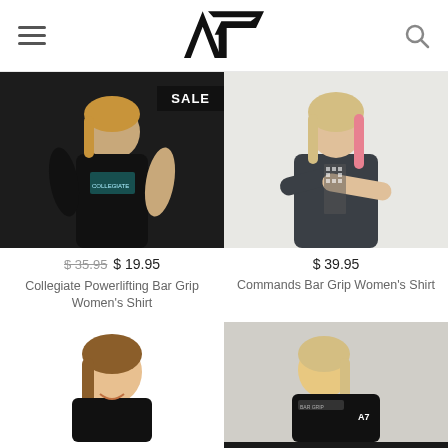A7 — navigation header with hamburger menu, A7 logo, and search icon
[Figure (photo): Woman wearing black A7 Collegiate Powerlifting Bar Grip Women's Shirt, cropped view showing torso, with SALE badge overlay]
$ 35.95 $ 19.95
Collegiate Powerlifting Bar Grip Women's Shirt
[Figure (photo): Woman with pink-tipped blonde hair wearing dark grey A7 Commands Bar Grip Women's Shirt, arms crossed]
$ 39.95
Commands Bar Grip Women's Shirt
[Figure (photo): Smiling woman with brown hair wearing black A7 shirt, partial view]
[Figure (photo): Blonde woman wearing black A7 shirt with logo on sleeve, partial view from side]